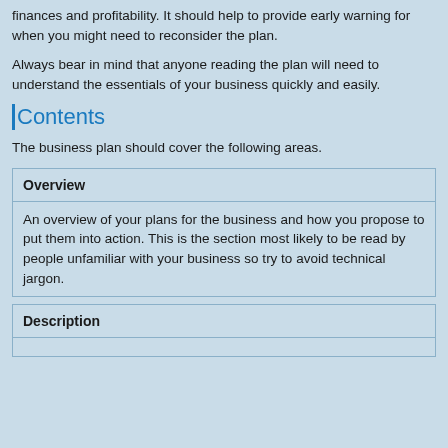finances and profitability. It should help to provide early warning for when you might need to reconsider the plan.
Always bear in mind that anyone reading the plan will need to understand the essentials of your business quickly and easily.
Contents
The business plan should cover the following areas.
| Overview |
| --- |
| An overview of your plans for the business and how you propose to put them into action. This is the section most likely to be read by people unfamiliar with your business so try to avoid technical jargon. |
| Description |
| --- |
|  |